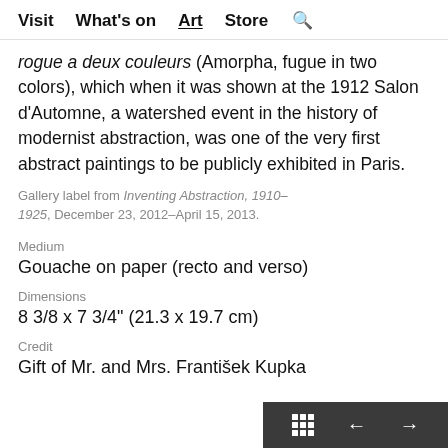Visit  What's on  Art  Store  🔍
rogue a deux couleurs (Amorpha, fugue in two colors), which when it was shown at the 1912 Salon d'Automne, a watershed event in the history of modernist abstraction, was one of the very first abstract paintings to be publicly exhibited in Paris.
Gallery label from Inventing Abstraction, 1910–1925, December 23, 2012–April 15, 2013.
Medium
Gouache on paper (recto and verso)
Dimensions
8 3/8 x 7 3/4" (21.3 x 19.7 cm)
Credit
Gift of Mr. and Mrs. František Kupka